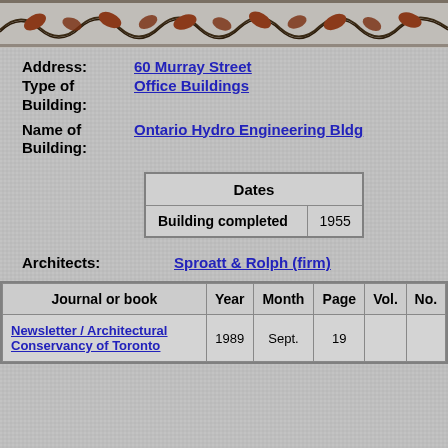[Figure (illustration): Decorative border with leaf/floral motif in brown, black, and cream colors across the top of the page]
Address: 60 Murray Street
Type of Building: Office Buildings
Name of Building: Ontario Hydro Engineering Bldg
| Dates |
| --- |
| Building completed | 1955 |
Architects: Sproatt & Rolph (firm)
| Journal or book | Year | Month | Page | Vol. | No. |
| --- | --- | --- | --- | --- | --- |
| Newsletter / Architectural Conservancy of Toronto | 1989 | Sept. | 19 |  |  |